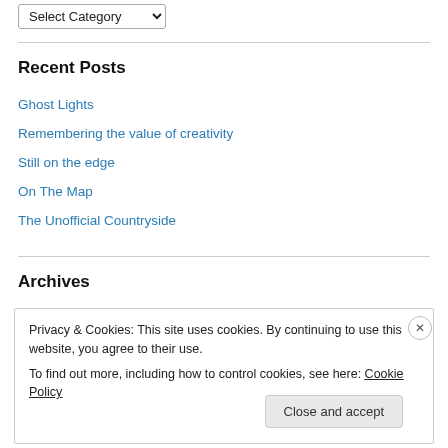Select Category
Recent Posts
Ghost Lights
Remembering the value of creativity
Still on the edge
On The Map
The Unofficial Countryside
Archives
Privacy & Cookies: This site uses cookies. By continuing to use this website, you agree to their use.
To find out more, including how to control cookies, see here: Cookie Policy
Close and accept